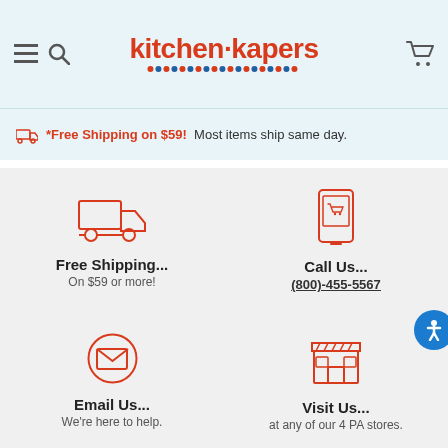Kitchen Kapers - navigation header with menu, search, logo, and cart icons
*Free Shipping on $59! Most items ship same day.
Free Shipping... On $59 or more!
Call Us... (800)-455-5567
Email Us... We're here to help.
Visit Us... at any of our 4 PA stores.